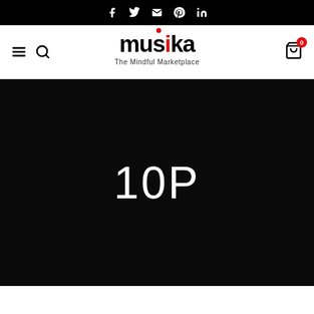Social icons: Facebook, Twitter, Email, Pinterest, LinkedIn
[Figure (logo): Musika logo with tagline 'The Mindful Marketplace', navigation menu icon, search icon, and cart icon with badge '0']
10P